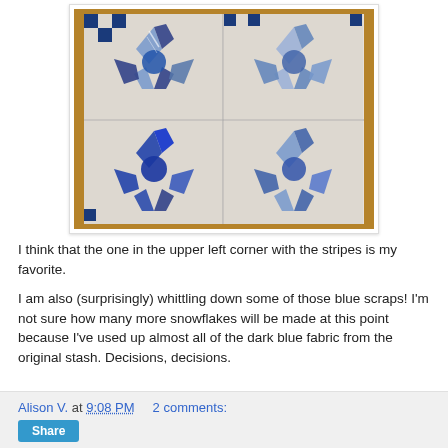[Figure (photo): A photograph of four blue and white quilt blocks arranged in a 2x2 grid on a wooden surface. Each block features an eight-pointed star/snowflake pattern made from blue and white fabrics, with checked borders.]
I think that the one in the upper left corner with the stripes is my favorite.
I am also (surprisingly) whittling down some of those blue scraps! I'm not sure how many more snowflakes will be made at this point because I've used up almost all of the dark blue fabric from the original stash. Decisions, decisions.
Alison V. at 9:08 PM    2 comments:   Share